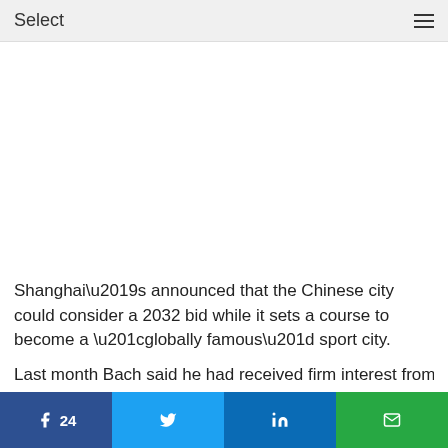Select
[Figure (other): Advertisement / blank white area]
Shanghai’s announced that the Chinese city could consider a 2032 bid while it sets a course to become a “globally famous” sport city.
Last month Bach said he had received firm interest from
Facebook 24 | Twitter | LinkedIn | Email